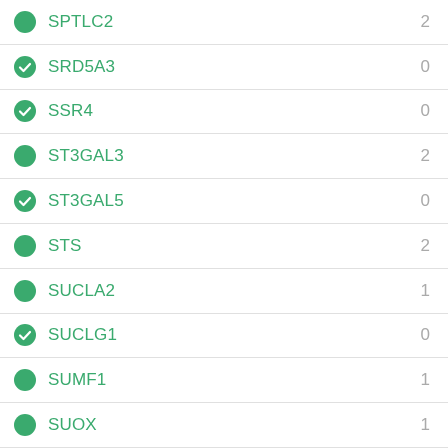SPTLC2  2
SRD5A3  0
SSR4  0
ST3GAL3  2
ST3GAL5  0
STS  2
SUCLA2  1
SUCLG1  0
SUMF1  1
SUOX  1